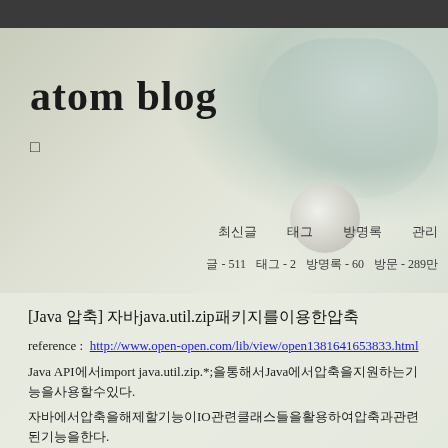atom blog
□
최신글  태그  방명록  관리
글 - 511  태그 - 2  방명록 - 60  방문 - 289만
[Java 압축] 자바java.util.zip패키지를이용한압축
reference :  http://www.open-open.com/lib/view/open1381641653833.html
Java API에서import java.util.zip.*;을통해서Java에서압축을지원하는기능을사용할수있다.
자바에서압축을해제할기능이IO관련클래스들을활용하여압축과관련된기능을한다.
ZipFile